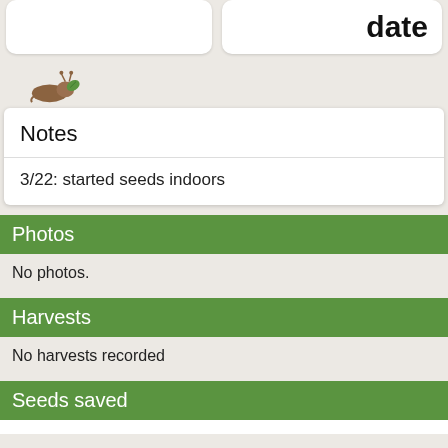[Figure (illustration): Partial view of two white rounded-corner cards at the top, one showing bold text 'date' partially visible]
[Figure (illustration): Small slug/snail icon with a green leaf]
Notes
3/22: started seeds indoors
Photos
No photos.
Harvests
No harvests recorded
Seeds saved